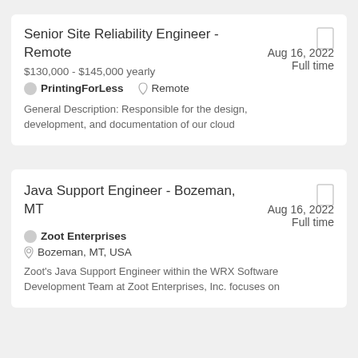Senior Site Reliability Engineer - Remote
$130,000 - $145,000 yearly
Aug 16, 2022  Full time
PrintingForLess  Remote
General Description:  Responsible for the design, development, and documentation of our cloud
Java Support Engineer - Bozeman, MT
Aug 16, 2022  Full time
Zoot Enterprises  Bozeman, MT, USA
Zoot's  Java Support Engineer  within the WRX Software Development Team at Zoot Enterprises, Inc. focuses on